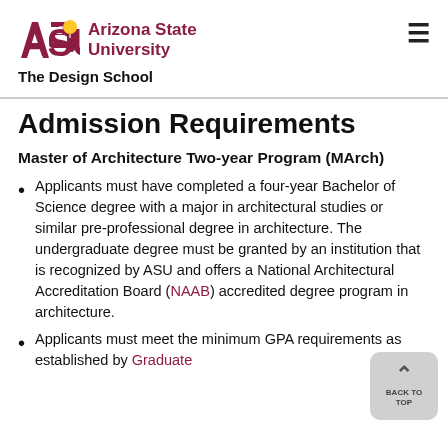ASU Arizona State University The Design School
Admission Requirements
Master of Architecture Two-year Program (MArch)
Applicants must have completed a four-year Bachelor of Science degree with a major in architectural studies or similar pre-professional degree in architecture. The undergraduate degree must be granted by an institution that is recognized by ASU and offers a National Architectural Accreditation Board (NAAB) accredited degree program in architecture.
Applicants must meet the minimum GPA requirements as established by Graduate